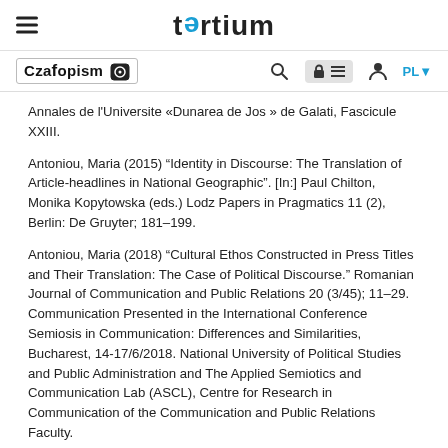tertium
Czafopism | Search | PL
Annales de l'Universite «Dunarea de Jos » de Galati, Fascicule XXIII.
Antoniou, Maria (2015) “Identity in Discourse: The Translation of Article-headlines in National Geographic”. [In:] Paul Chilton, Monika Kopytowska (eds.) Lodz Papers in Pragmatics 11 (2), Berlin: De Gruyter; 181–199.
Antoniou, Maria (2018) “Cultural Ethos Constructed in Press Titles and Their Translation: The Case of Political Discourse.” Romanian Journal of Communication and Public Relations 20 (3/45); 11–29. Communication Presented in the International Conference Semiosis in Communication: Differences and Similarities, Bucharest, 14-17/6/2018. National University of Political Studies and Public Administration and The Applied Semiotics and Communication Lab (ASCL), Centre for Research in Communication of the Communication and Public Relations Faculty.